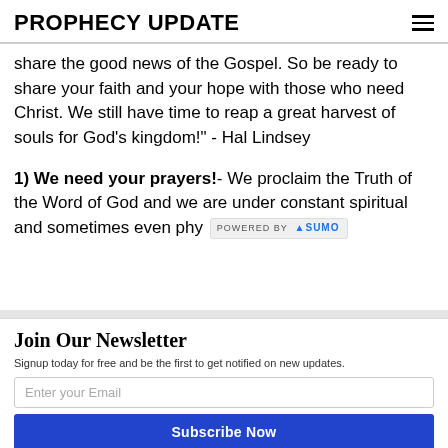PROPHECY UPDATE
share the good news of the Gospel. So be ready to share your faith and your hope with those who need Christ. We still have time to reap a great harvest of souls for God's kingdom!" - Hal Lindsey
1) We need your prayers!- We proclaim the Truth of the Word of God and we are under constant spiritual and sometimes even phy [POWERED BY SUMO]
Join Our Newsletter
Signup today for free and be the first to get notified on new updates.
Enter your Email
Subscribe Now